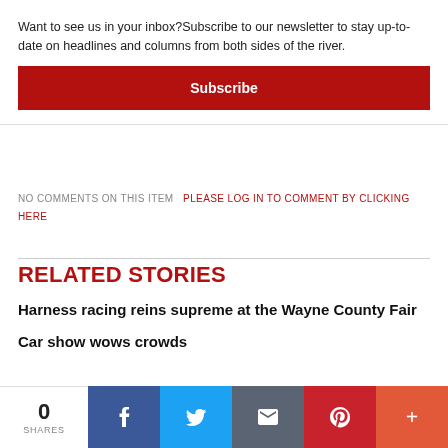Want to see us in your inbox?Subscribe to our newsletter to stay up-to-date on headlines and columns from both sides of the river.
Subscribe
NO COMMENTS ON THIS ITEM   PLEASE LOG IN TO COMMENT BY CLICKING HERE
RELATED STORIES
Harness racing reins supreme at the Wayne County Fair
Car show wows crowds
0 SHARES  [Facebook] [Twitter] [Email] [Pinterest] [More]